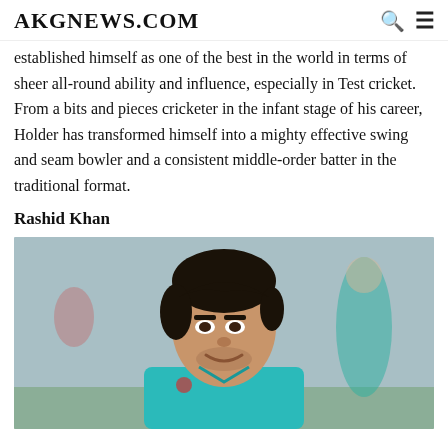AKGNEWS.COM
established himself as one of the best in the world in terms of sheer all-round ability and influence, especially in Test cricket. From a bits and pieces cricketer in the infant stage of his career, Holder has transformed himself into a mighty effective swing and seam bowler and a consistent middle-order batter in the traditional format.
Rashid Khan
[Figure (photo): Photo of Rashid Khan in a teal cricket jersey, smiling, with a blurred background showing another player and green surroundings.]